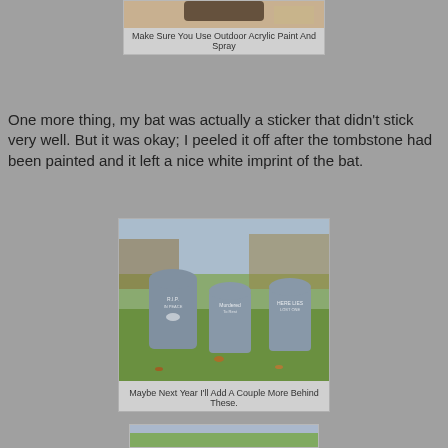[Figure (photo): Top partial photo showing a bat decoration and craft materials on a wooden surface, partially cropped at top]
Make Sure You Use Outdoor Acrylic Paint And Spray
One more thing, my bat was actually a sticker that didn't stick very well. But it was okay; I peeled it off after the tombstone had been painted and it left a nice white imprint of the bat.
[Figure (photo): Three grey Halloween tombstone decorations placed in a grass lawn with trees in background]
Maybe Next Year I'll Add A Couple More Behind These.
[Figure (photo): Partial view of another photo at the bottom of the page, cropped]